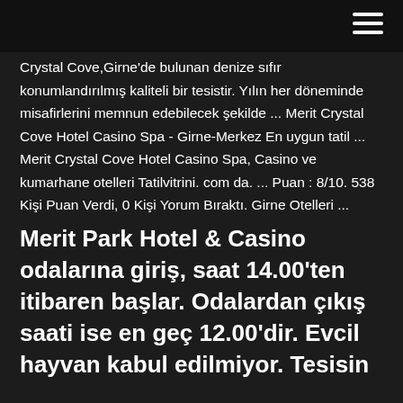Crystal Cove,Girne'de bulunan denize sıfır konumlandırılmış kaliteli bir tesistir. Yılın her döneminde misafirlerini memnun edebilecek şekilde ... Merit Crystal Cove Hotel Casino Spa - Girne-Merkez En uygun tatil ... Merit Crystal Cove Hotel Casino Spa, Casino ve kumarhane otelleri Tatilvitrini. com da. ... Puan : 8/10. 538 Kişi Puan Verdi, 0 Kişi Yorum Bıraktı. Girne Otelleri ...
Merit Park Hotel & Casino odalarına giriş, saat 14.00'ten itibaren başlar. Odalardan çıkış saati ise en geç 12.00'dir. Evcil hayvan kabul edilmiyor. Tesisin